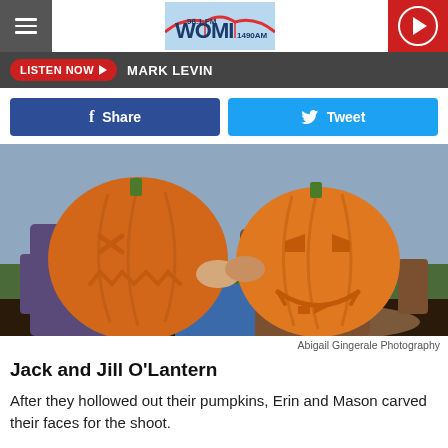WOMI 98.1 FM / 1490 AM radio station header with hamburger menu, logo, and play button
LISTEN NOW ▶  MARK LEVIN
Share  Tweet
[Figure (photo): Two people holding carved jack-o-lantern pumpkins in front of their faces, sitting outdoors on a wooden surface. Left pumpkin has X eyes and a jagged mouth, right pumpkin has a classic smiling face with slanted eyes.]
Abigail Gingerale Photography
Jack and Jill O'Lantern
After they hollowed out their pumpkins, Erin and Mason carved their faces for the shoot.